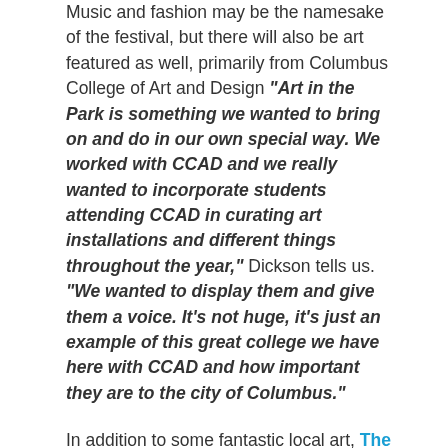Music and fashion may be the namesake of the festival, but there will also be art featured as well, primarily from Columbus College of Art and Design "Art in the Park is something we wanted to bring on and do in our own special way. We worked with CCAD and we really wanted to incorporate students attending CCAD in curating art installations and different things throughout the year," Dickson tells us. "We wanted to display them and give them a voice. It's not huge, it's just an example of this great college we have here with CCAD and how important they are to the city of Columbus."
In addition to some fantastic local art, The World We Want, a public art project where attendees will be able to write about their greatest fears, biggest aspirations and the world they wanted to live in on an enormous chalkboard, will also be making an appearance.
While only in its second year, FMMF is already on its way to becoming popular far outside of Central Ohio. Dickson